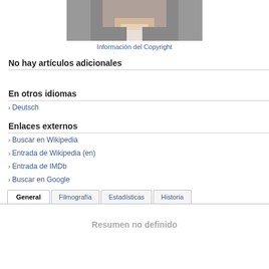[Figure (photo): Cropped photo of a person wearing a gray jacket and white shirt, showing neck/chest area only]
Información del Copyright
No hay artículos adicionales
En otros idiomas
Deutsch
Enlaces externos
Buscar en Wikipedia
Entrada de Wikipedia (en)
Entrada de IMDb
Buscar en Google
General | Filmografía | Estadísticas | Historia
Resumen no definido